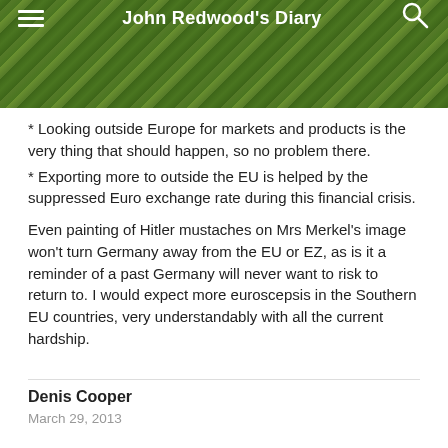John Redwood's Diary
* Looking outside Europe for markets and products is the very thing that should happen, so no problem there.
* Exporting more to outside the EU is helped by the suppressed Euro exchange rate during this financial crisis.
Even painting of Hitler mustaches on Mrs Merkel’s image won’t turn Germany away from the EU or EZ, as is it a reminder of a past Germany will never want to risk to return to. I would expect more euroscepsis in the Southern EU countries, very understandably with all the current hardship.
Denis Cooper
March 29, 2013